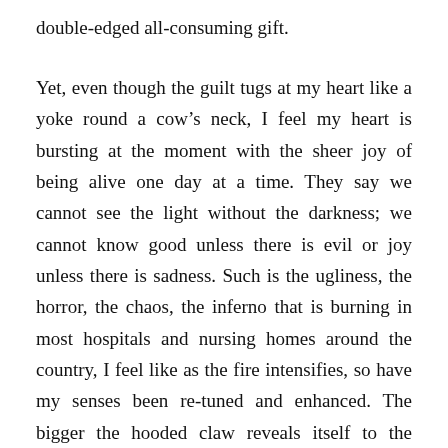double-edged all-consuming gift.
Yet, even though the guilt tugs at my heart like a yoke round a cow’s neck, I feel my heart is bursting at the moment with the sheer joy of being alive one day at a time. They say we cannot see the light without the darkness; we cannot know good unless there is evil or joy unless there is sadness. Such is the ugliness, the horror, the chaos, the inferno that is burning in most hospitals and nursing homes around the country, I feel like as the fire intensifies, so have my senses been re-tuned and enhanced. The bigger the hooded claw reveals itself to the world, the more uplifted I feel by the supernatural around me. As the darkness around us has grown, so has the light within me.